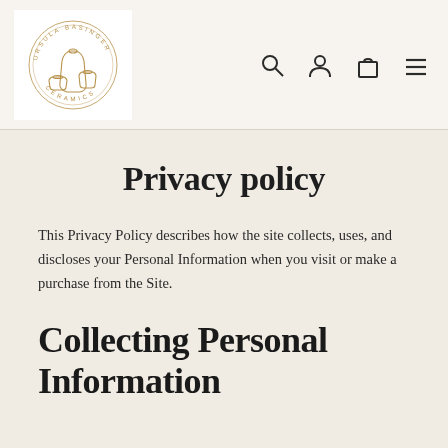[Figure (logo): Ursula Basinger Ceramics circular logo with line drawing of ceramic vessels]
Privacy policy
This Privacy Policy describes how the site collects, uses, and discloses your Personal Information when you visit or make a purchase from the Site.
Collecting Personal Information